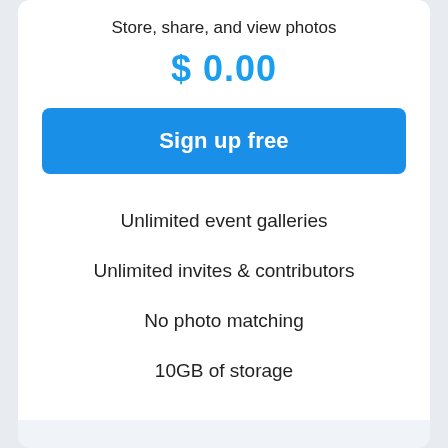Store, share, and view photos
$ 0.00
Sign up free
Unlimited event galleries
Unlimited invites & contributors
No photo matching
10GB of storage